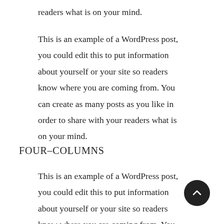readers what is on your mind.
This is an example of a WordPress post, you could edit this to put information about yourself or your site so readers know where you are coming from. You can create as many posts as you like in order to share with your readers what is on your mind.
FOUR-COLUMNS
This is an example of a WordPress post, you could edit this to put information about yourself or your site so readers know where you are coming from. You can create as many